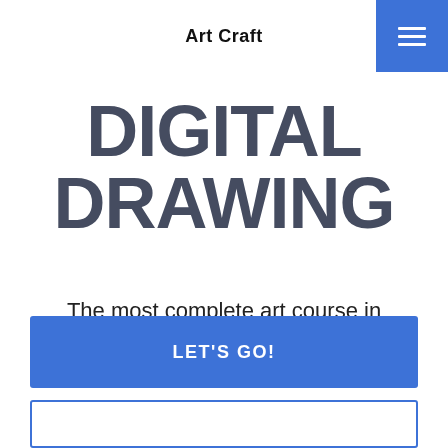Art Craft
DIGITAL DRAWING
The most complete art course in Photoshop and ProCreate for beginners
LET'S GO!